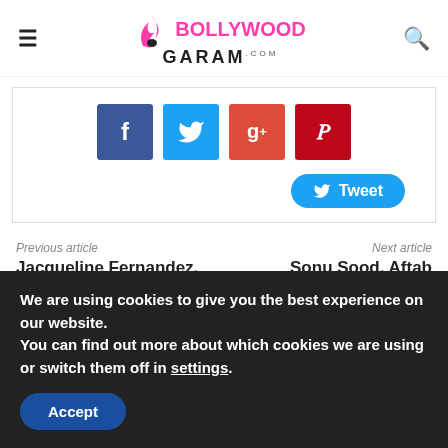Bollywood Garam .com
[Figure (infographic): Social sharing buttons: Facebook (blue), Twitter (light blue), Google+ (red-orange), Pinterest (dark red), and a Tweet button]
Previous article
Next article
Jacqueline Fernandez, Shilpa Shetty and Malaika Arora Khan at special screening of
Sonu Sood, Aftab Shivdasani and Dino Morea watch The Raid 2
We are using cookies to give you the best experience on our website.
You can find out more about which cookies we are using or switch them off in settings.
Accept